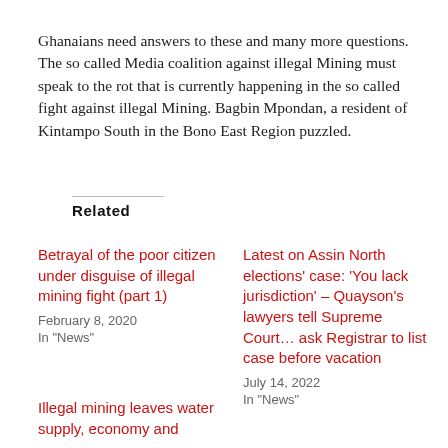Ghanaians need answers to these and many more questions. The so called Media coalition against illegal Mining must speak to the rot that is currently happening in the so called fight against illegal Mining. Bagbin Mpondan, a resident of Kintampo South in the Bono East Region puzzled.
Related
Betrayal of the poor citizen under disguise of illegal mining fight (part 1)
February 8, 2020
In "News"
Latest on Assin North elections' case: 'You lack jurisdiction' – Quayson's lawyers tell Supreme Court… ask Registrar to list case before vacation
July 14, 2022
In "News"
Illegal mining leaves water supply, economy and